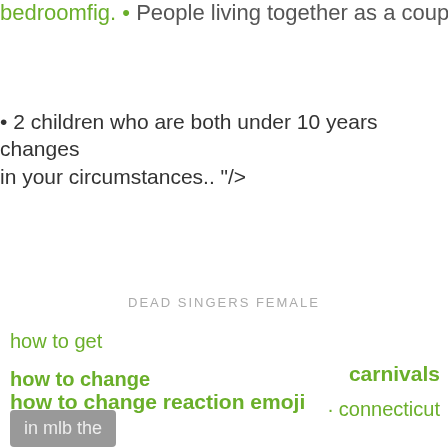bedroom • People living together as a couple •
• 2 children who are both under 10 years changes in your circumstances.. "/>
DEAD SINGERS FEMALE
how to get
how to change reaction emoji
carnivals
· connecticut
in mlb the